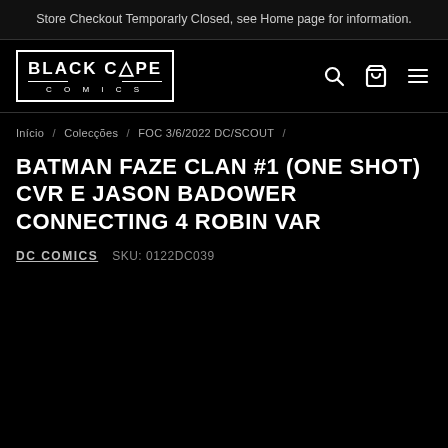Store Checkout Temporarly Closed, see Home page for information.
[Figure (logo): Black Cape Comics logo — text in bordered box with tent/triangle over the A]
Início / Colecções / FOC 3/6/2022 DC/SCOUT /
BATMAN FAZE CLAN #1 (ONE SHOT) CVR E JASON BADOWER CONNECTING 4 ROBIN VAR
DC COMICS    SKU: 0122DC039